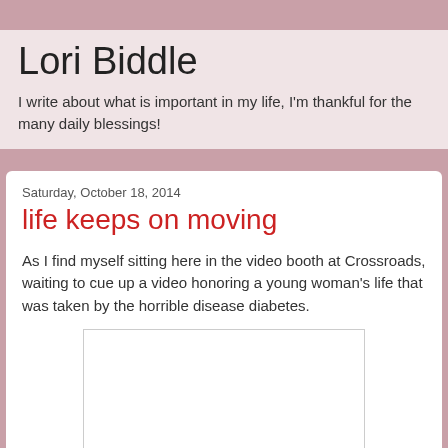Lori Biddle
I write about what is important in my life, I'm thankful for the many daily blessings!
Saturday, October 18, 2014
life keeps on moving
As I find myself sitting here in the video booth at Crossroads, waiting to cue up a video honoring a young woman's life that was taken by the horrible disease diabetes.
[Figure (photo): Blank white image placeholder area]